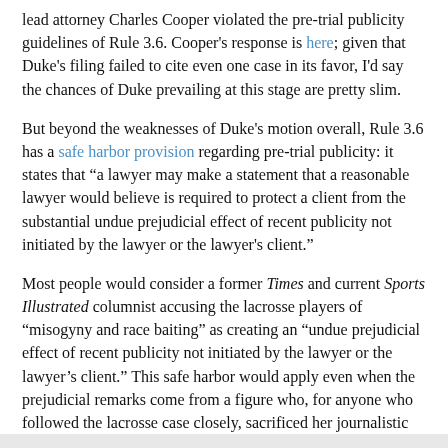lead attorney Charles Cooper violated the pre-trial publicity guidelines of Rule 3.6. Cooper's response is here; given that Duke's filing failed to cite even one case in its favor, I'd say the chances of Duke prevailing at this stage are pretty slim.
But beyond the weaknesses of Duke's motion overall, Rule 3.6 has a safe harbor provision regarding pre-trial publicity: it states that “a lawyer may make a statement that a reasonable lawyer would believe is required to protect a client from the substantial undue prejudicial effect of recent publicity not initiated by the lawyer or the lawyer's client.”
Most people would consider a former Times and current Sports Illustrated columnist accusing the lacrosse players of “misogyny and race baiting” as creating an “undue prejudicial effect of recent publicity not initiated by the lawyer or the lawyer’s client.” This safe harbor would apply even when the prejudicial remarks come from a figure who, for anyone who followed the lacrosse case closely, sacrificed her journalistic credibility in an attempt to advance a preconceived ideological agenda.